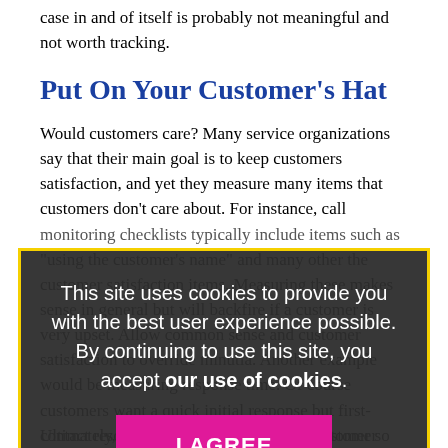case in and of itself is probably not meaningful and not worth tracking.
Put On Your Customer's Hat
Would customers care? Many service organizations say that their main goal is to keep customers satisfaction, and yet they measure many items that customers don't care about. For instance, call monitoring checklists typically include items such as "using the customer's name" and many other the customer satisfaction items. Measuring these makes sense in general but will backfire if a customer is very upset. Allow common sense and customer satisfaction to override minutia. Another example would be measuring response time. Of course customers want a quick initial response but first-contact resolution is more important for customer satisfaction.
This site uses cookies to provide you with the best user experience possible. By continuing to use this site, you accept our use of cookies.
Ultimately, the arbiter of success is the customer so